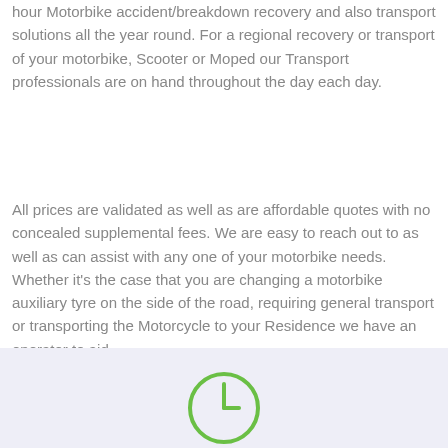hour Motorbike accident/breakdown recovery and also transport solutions all the year round. For a regional recovery or transport of your motorbike, Scooter or Moped our Transport professionals are on hand throughout the day each day.
All prices are validated as well as are affordable quotes with no concealed supplemental fees. We are easy to reach out to as well as can assist with any one of your motorbike needs. Whether it's the case that you are changing a motorbike auxiliary tyre on the side of the road, requiring general transport or transporting the Motorcycle to your Residence we have an operator to aid.
[Figure (illustration): A circular clock/timer icon with a green outline, partially visible at the bottom of the page on a light blue-grey background band.]